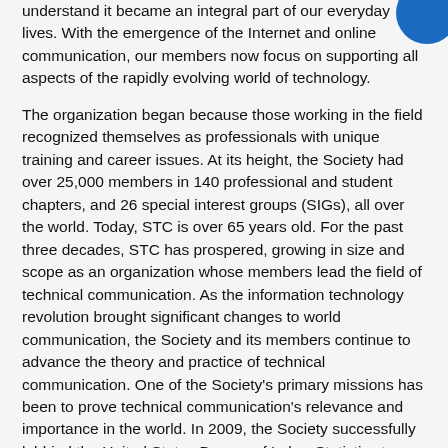understand it became an integral part of our everyday lives. With the emergence of the Internet and online communication, our members now focus on supporting all aspects of the rapidly evolving world of technology.
The organization began because those working in the field recognized themselves as professionals with unique training and career issues. At its height, the Society had over 25,000 members in 140 professional and student chapters, and 26 special interest groups (SIGs), all over the world. Today, STC is over 65 years old. For the past three decades, STC has prospered, growing in size and scope as an organization whose members lead the field of technical communication. As the information technology revolution brought significant changes to world communication, the Society and its members continue to advance the theory and practice of technical communication. One of the Society's primary missions has been to prove technical communication's relevance and importance in the world. In 2009, the Society successfully lobbied the United States Bureau of Labor Statistics to recognize Technical Writer as a profession.